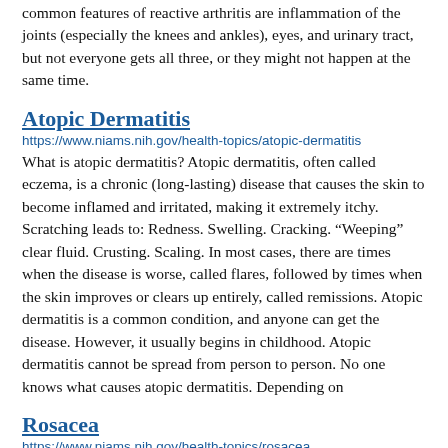common features of reactive arthritis are inflammation of the joints (especially the knees and ankles), eyes, and urinary tract, but not everyone gets all three, or they might not happen at the same time.
Atopic Dermatitis
https://www.niams.nih.gov/health-topics/atopic-dermatitis
What is atopic dermatitis? Atopic dermatitis, often called eczema, is a chronic (long-lasting) disease that causes the skin to become inflamed and irritated, making it extremely itchy. Scratching leads to: Redness. Swelling. Cracking. “Weeping” clear fluid. Crusting. Scaling. In most cases, there are times when the disease is worse, called flares, followed by times when the skin improves or clears up entirely, called remissions. Atopic dermatitis is a common condition, and anyone can get the disease. However, it usually begins in childhood. Atopic dermatitis cannot be spread from person to person. No one knows what causes atopic dermatitis. Depending on
Rosacea
https://www.niams.nih.gov/health-topics/rosacea
What is rosacea? Rosacea (ro-ZAY-she-ah) is a long-term skin condition that causes reddened skin and a rash, usually on the nose and cheeks. It may also cause eye problems.